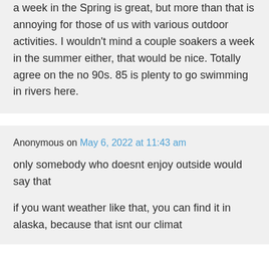a week in the Spring is great, but more than that is annoying for those of us with various outdoor activities. I wouldn't mind a couple soakers a week in the summer either, that would be nice. Totally agree on the no 90s. 85 is plenty to go swimming in rivers here.
Anonymous on May 6, 2022 at 11:43 am
only somebody who doesnt enjoy outside would say that
if you want weather like that, you can find it in alaska, because that isnt our climat